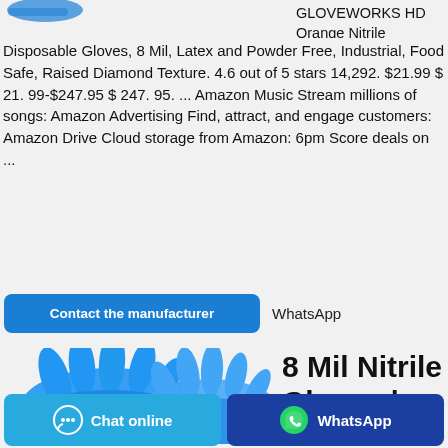[Figure (logo): GLOVEWORKS logo partial, blue graphic visible top left]
GLOVEWORKS HD Orange Nitrile Disposable Gloves, 8 Mil, Latex and Powder Free, Industrial, Food Safe, Raised Diamond Texture. 4.6 out of 5 stars 14,292. $21.99 $ 21. 99-$247.95 $ 247. 95. ... Amazon Music Stream millions of songs: Amazon Advertising Find, attract, and engage customers: Amazon Drive Cloud storage from Amazon: 6pm Score deals on ...
Contact the manufacturer   WhatsApp
[Figure (photo): Two blue nitrile gloves spread open against light grey background]
8 Mil Nitrile Gloves |
Chat online
WhatsApp